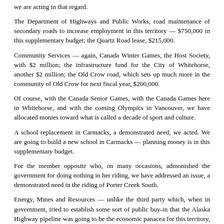we are acting in that regard.
The Department of Highways and Public Works, road maintenance of secondary roads to increase employment in this territory — $750,000 in this supplementary budget; the Quartz Road lease, $215,000.
Community Services — again, Canada Winter Games, the Host Society, with $2 million; the infrastructure fund for the City of Whitehorse, another $2 million; the Old Crow road, which sets up much more in the community of Old Crow for next fiscal year, $200,000.
Of course, with the Canada Senior Games, with the Canada Games here in Whitehorse, and with the coming Olympics in Vancouver, we have allocated monies toward what is called a decade of sport and culture.
A school replacement in Carmacks, a demonstrated need, we acted. We are going to build a new school in Carmacks — planning money is in this supplementary budget.
For the member opposite who, on many occasions, admonished the government for doing nothing in her riding, we have addressed an issue, a demonstrated need in the riding of Porter Creek South.
Energy, Mines and Resources — unlike the third party which, when in government, tried to establish some sort of public buy-in that the Alaska Highway pipeline was going to be the economic panacea for this territory, though many tried to get the former Premier and her government to understand that there was much more to that project than simply the Yukon government travelling around North America announcing that it really liked the project — much more had to be done in regard to that project...